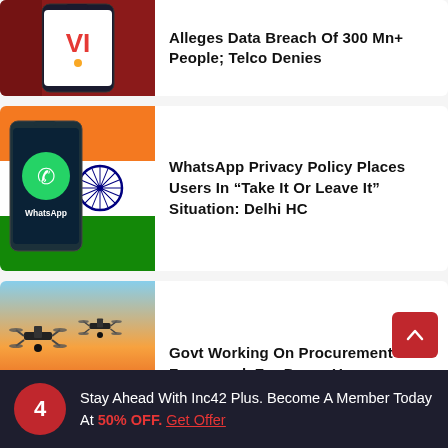[Figure (photo): Vi (Vodafone Idea) logo on a smartphone screen with red background]
Alleges Data Breach Of 300 Mn+ People; Telco Denies
[Figure (photo): WhatsApp app on a smartphone displayed against Indian flag background]
WhatsApp Privacy Policy Places Users In “Take It Or Leave It” Situation: Delhi HC
[Figure (photo): Drones flying against an orange sunset sky with city silhouette]
Govt Working On Procurement Framework For Drone Usages
Stay Ahead With Inc42 Plus. Become A Member Today At 50% OFF. Get Offer